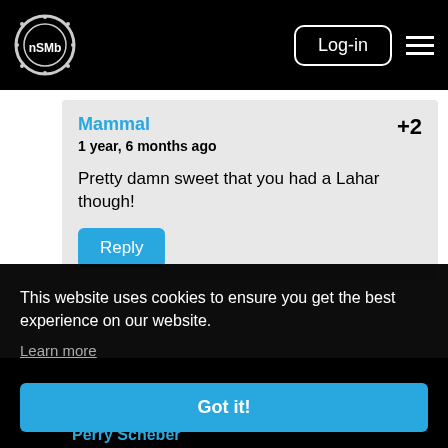nsmb Log-in
Mammal +2
1 year, 6 months ago
Pretty damn sweet that you had a Lahar though!
Reply
0
This website uses cookies to ensure you get the best experience on our website.
Learn more
Got it!
Perry Scheber